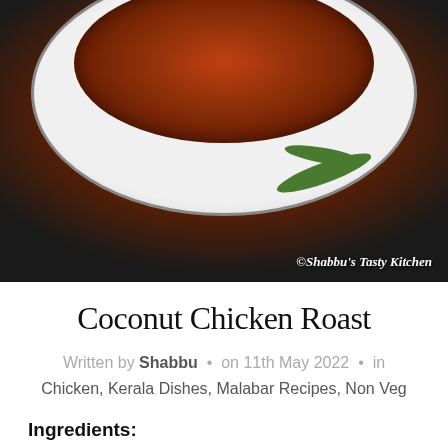[Figure (photo): A plate of Coconut Chicken Roast garnished with green leaves, on a dark background. Watermark reads ©Shabbu's Tasty Kitchen.]
Coconut Chicken Roast
Written by Shabbu • on 11th May 2022 • in Chicken, Kerala Dishes, Malabar Recipes, Non Veg
Ingredients:
1 kg chicken
2 cup grated coconut
2 tbsp + 1 tbsp kashmiri chilli powder
1/4 tsp + 1/4 tsp turmeric powder